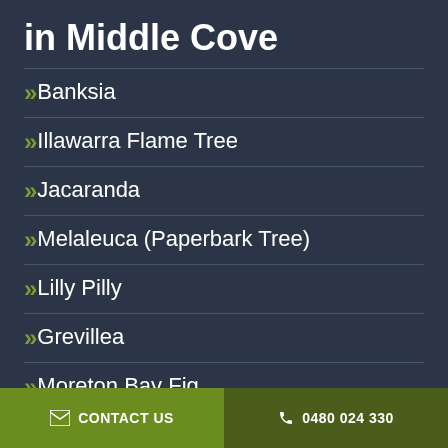in Middle Cove
Banksia
Illawarra Flame Tree
Jacaranda
Melaleuca (Paperbark Tree)
Lilly Pilly
Grevillea
Moreton Bay Fig
Eucalyptus (Gum Trees)
CONTACT US   0480 024 330